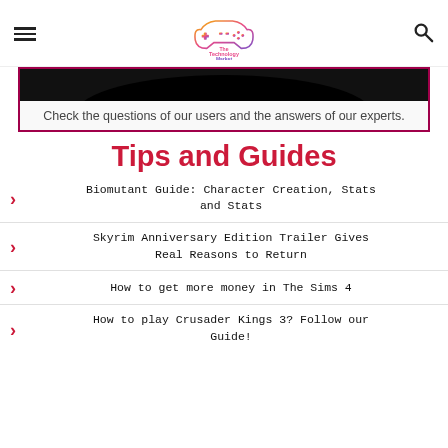The Technology Market
[Figure (screenshot): Partial dark image showing curved/wavy black shape at top of Q&A box]
Check the questions of our users and the answers of our experts.
Tips and Guides
Biomutant Guide: Character Creation, Stats and Stats
Skyrim Anniversary Edition Trailer Gives Real Reasons to Return
How to get more money in The Sims 4
How to play Crusader Kings 3? Follow our Guide!